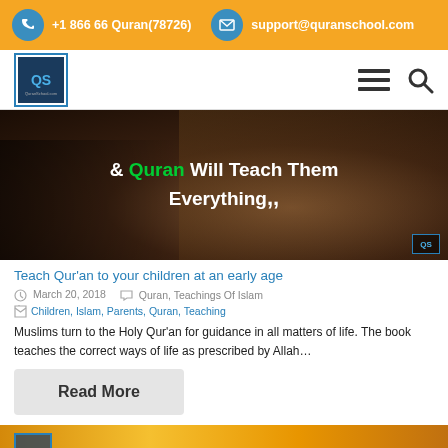+1 866 66 Quran(78726)   support@quranschool.com
[Figure (logo): QuranSchool logo with 'QS' letters in blue box]
[Figure (photo): Dark background image showing Quran pages with text: & Quran Will Teach Them Everything]
Teach Qur'an to your children at an early age
March 20, 2018   Quran, Teachings Of Islam
Children, Islam, Parents, Quran, Teaching
Muslims turn to the Holy Qur'an for guidance in all matters of life. The book teaches the correct ways of life as prescribed by Allah…
Read More
[Figure (photo): Second article preview with golden/orange background and QuranSchool logo]